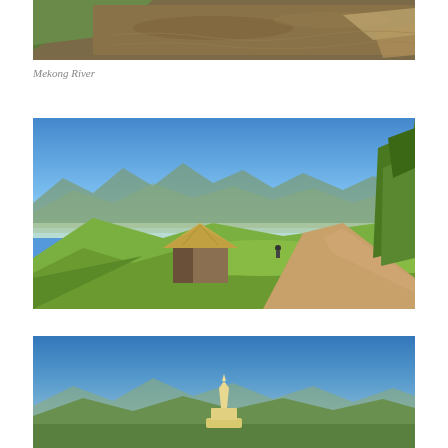[Figure (photo): Aerial or elevated view of the Mekong River – brown muddy water with green slopes on the left bank and sandy/rocky outcrops on the right. The river occupies most of the frame.]
Mekong River
[Figure (photo): Mountain landscape with clear blue sky, rolling green hills and valleys receding into the distance. In the foreground a wooden hut with a thatched roof sits on a green hillside next to a dirt path winding upward. Trees are visible on the right edge.]
[Figure (photo): Elevated mountain panorama with vivid blue sky. Green mountain ridges recede into a hazy distance. In the foreground at the bottom center a small white stupa or monument is partially visible.]